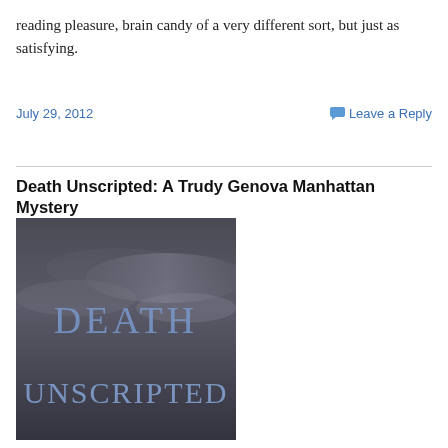reading pleasure, brain candy of a very different sort, but just as satisfying.
July 29, 2012
Leave a Reply
Death Unscripted: A Trudy Genova Manhattan Mystery
[Figure (photo): Book cover for 'Death Unscripted' showing dark cloudy sky background with stylized blue/purple text reading 'DEATH UNSCRIPTED']